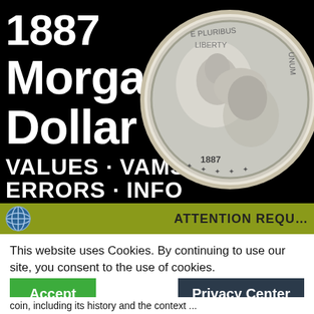[Figure (photo): Black background banner showing '1887 Morgan Dollar · VALUES · VAMS · ERRORS · INFO' in white bold text on the left, and a silver Morgan dollar coin (obverse) on the right showing Lady Liberty profile, dated 1887]
ATTENTION REQU
This website uses Cookies. By continuing to use our site, you consent to the use of cookies.
Accept
Privacy Center
coin, including its history and the context ...